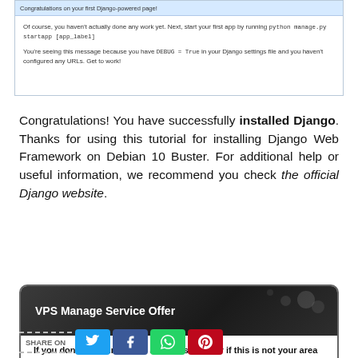[Figure (screenshot): Screenshot of Django default welcome page showing congratulations message, manage.py startapp command hint, and DEBUG=True notice]
Congratulations! You have successfully installed Django. Thanks for using this tutorial for installing Django Web Framework on Debian 10 Buster. For additional help or useful information, we recommend you check the official Django website.
[Figure (infographic): VPS Manage Service Offer box with dark bokeh header and bold text offering managed VPS service starting from $10 via Paypal. Contains text: If you don't have time to do all of this stuff, or if this is not your area of expertise, we offer a service to do "VPS Manage Service Offer", starting from $10 (Paypal payment). Please contact us to get the best deal!]
SHARE ON